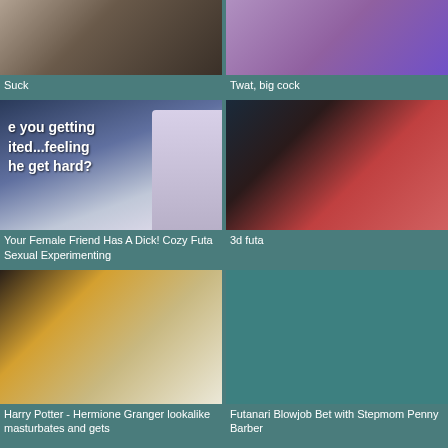[Figure (photo): Top left thumbnail - dark grayscale image]
Suck
[Figure (photo): Top right thumbnail - purple toned image]
Twat, big cock
[Figure (illustration): Middle left - anime style illustration with text overlay reading 'e you getting ited...feeling he get hard?']
Your Female Friend Has A Dick! Cozy Futa Sexual Experimenting
[Figure (illustration): Middle right - 3D rendered red-haired character]
3d futa
[Figure (illustration): Bottom left - 3D animated illustration]
Harry Potter - Hermione Granger lookalike masturbates and gets
[Figure (photo): Bottom right - teal/dark background placeholder]
Futanari Blowjob Bet with Stepmom Penny Barber